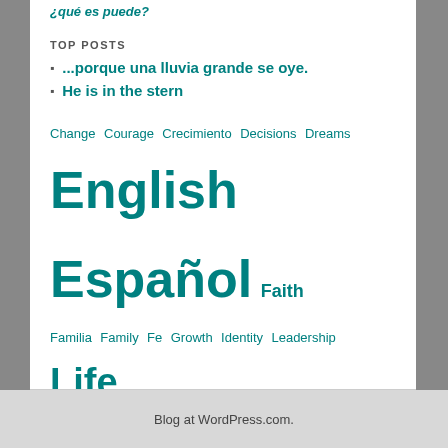¿qué es puede?
TOP POSTS
...porque una lluvia grande se oye.
He is in the stern
Change  Courage  Crecimiento  Decisions  Dreams  English  Español  Faith  Familia  Family  Fe  Growth  Identity  Leadership  Life  Obedience  Obediencia  Promesas  Promises  Propósito  Purpose  Quotes  Relaciones  Relationships  Restauración  Restoration  Series  Sueños  Vida  Video
Blog at WordPress.com.